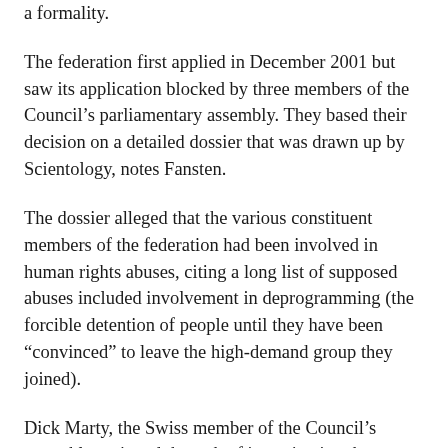a formality.
The federation first applied in December 2001 but saw its application blocked by three members of the Council’s parliamentary assembly. They based their decision on a detailed dossier that was drawn up by Scientology, notes Fansten.
The dossier alleged that the various constituent members of the federation had been involved in human rights abuses, citing a long list of supposed abuses included involvement in deprogramming (the forcible detention of people until they have been “convinced” to leave the high-demand group they joined).
Dick Marty, the Swiss member of the Council’s assembly assigned the task of investigating these allegations, concluded in 2005 that the allegations were unsubstantiated.[44] On the strength of his